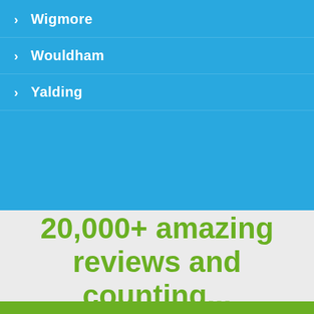Wigmore
Wouldham
Yalding
20,000+ amazing reviews and counting...